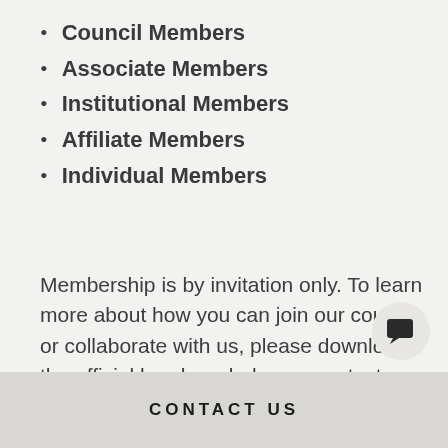Council Members
Associate Members
Institutional Members
Affiliate Members
Individual Members
Membership is by invitation only. To learn more about how you can join our council or collaborate with us, please download the official brochure below or contact us.
CONTACT US